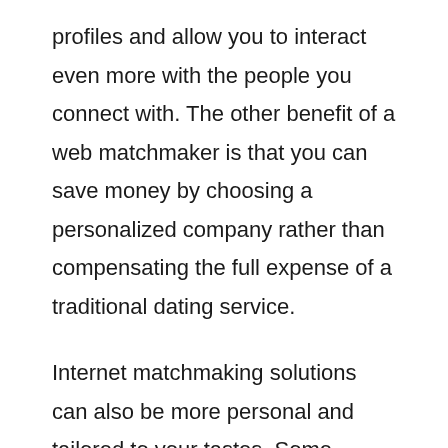profiles and allow you to interact even more with the people you connect with. The other benefit of a web matchmaker is that you can save money by choosing a personalized company rather than compensating the full expense of a traditional dating service.
Internet matchmaking solutions can also be more personal and tailored to your tastes. Some matchmaking products and services are free, and some require a charge. You can pick a paid provider based on the customer service and features. You can pay for a totally free trial,